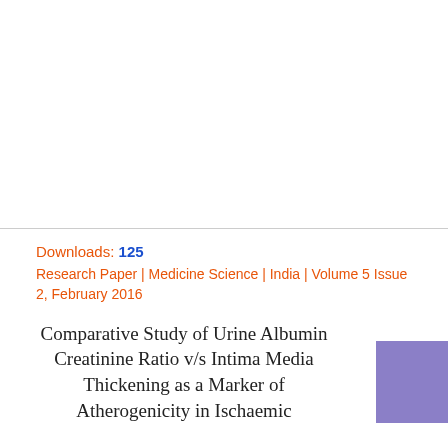Downloads: 125
Research Paper | Medicine Science | India | Volume 5 Issue 2, February 2016
Comparative Study of Urine Albumin Creatinine Ratio v/s Intima Media Thickening as a Marker of Atherogenicity in Ischaemic